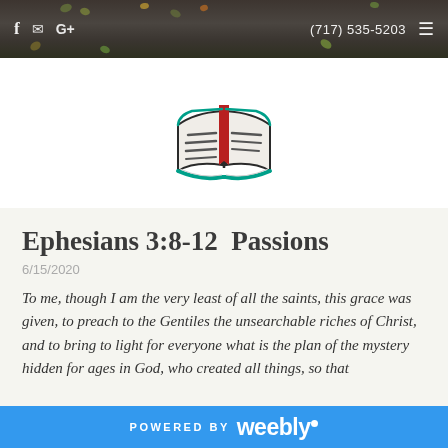f  ✉  G+    (717) 535-5203  ☰
[Figure (illustration): Open book icon with green cover, text lines on left page, red bookmark ribbon in center]
Ephesians 3:8-12  Passions
6/15/2020
To me, though I am the very least of all the saints, this grace was given, to preach to the Gentiles the unsearchable riches of Christ, and to bring to light for everyone what is the plan of the mystery hidden for ages in God, who created all things, so that
POWERED BY weebly